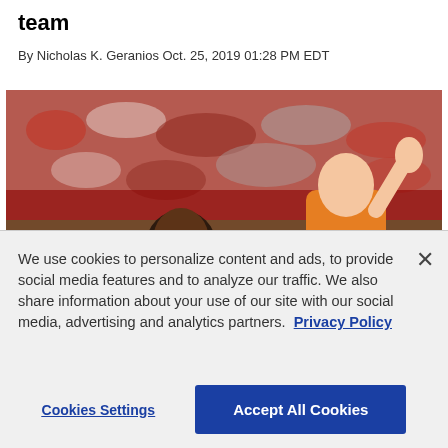team
By Nicholas K. Geranios Oct. 25, 2019 01:28 PM EDT
[Figure (photo): Basketball game photo showing a player in white jersey and a player in orange jersey on the court with a crowd in the background]
We use cookies to personalize content and ads, to provide social media features and to analyze our traffic. We also share information about your use of our site with our social media, advertising and analytics partners.  Privacy Policy
Cookies Settings
Accept All Cookies